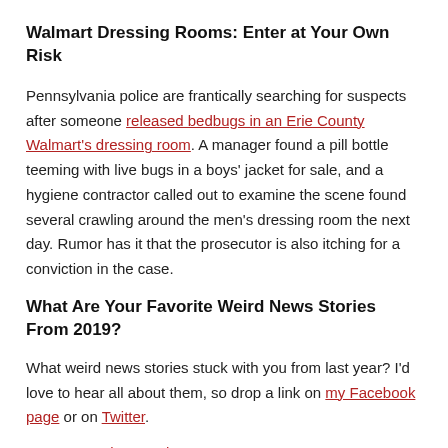Walmart Dressing Rooms: Enter at Your Own Risk
Pennsylvania police are frantically searching for suspects after someone released bedbugs in an Erie County Walmart's dressing room. A manager found a pill bottle teeming with live bugs in a boys' jacket for sale, and a hygiene contractor called out to examine the scene found several crawling around the men's dressing room the next day. Rumor has it that the prosecutor is also itching for a conviction in the case.
What Are Your Favorite Weird News Stories From 2019?
What weird news stories stuck with you from last year? I'd love to hear all about them, so drop a link on my Facebook page or on Twitter.
Attorney Carlos Gamino